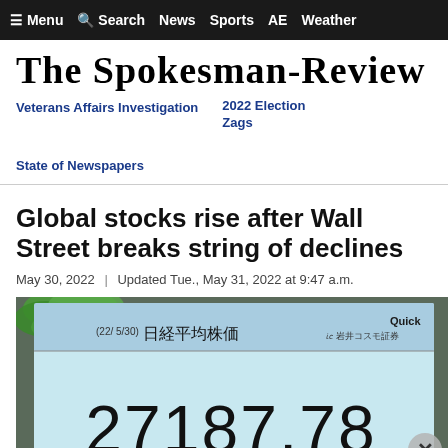≡ Menu   🔍 Search   News   Sports   AE   Weather
The Spokesman-Review
Veterans Affairs Investigation
2022 Election
Zags
State of Newspapers
Global stocks rise after Wall Street breaks string of declines
May 30, 2022 | Updated Tue., May 31, 2022 at 9:47 a.m.
[Figure (photo): A stock market display screen showing the Nikkei 225 index at 27187.78 dated 22/5/30, with a plant leaf visible in the upper left corner. The display shows Quick and 岩井コスモ証券 (Iwai Cosmo Securities) branding. The number 27187.78 is prominently displayed in large digits on a light blue screen.]